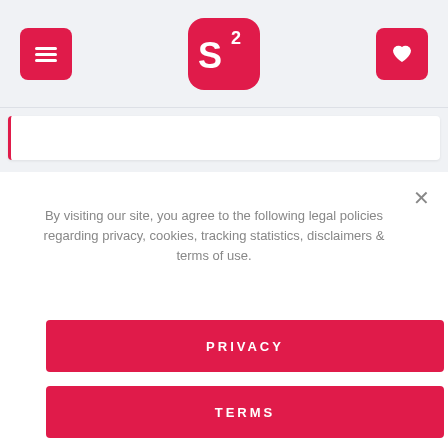[Figure (logo): Header navigation bar with hamburger menu icon (red square), S² logo (red rounded square with white S and superscript 2), and heart/favorites icon (red square)]
[Figure (screenshot): Search bar input field with red left border accent]
By visiting our site, you agree to the following legal policies regarding privacy, cookies, tracking statistics, disclaimers & terms of use.
PRIVACY
TERMS
COOKIES
DISCLAIMER